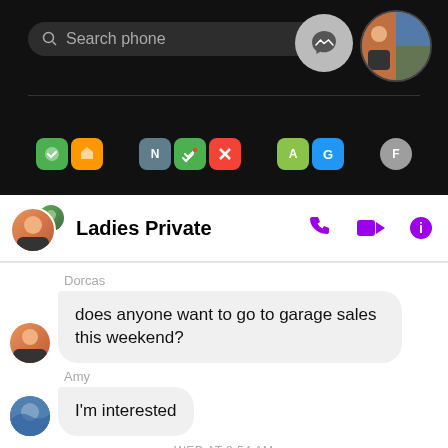[Figure (screenshot): Top portion of a smartphone screen showing a dark phone home screen with a search bar reading 'Search phone', a Messenger app bubble icon, a profile photo collage, and a row of app icons at the bottom.]
Ladies Private
Dorcas
does anyone want to go to garage sales this weekend?
Amy
I'm interested
WED AT 8:54 AM
7:23 AM